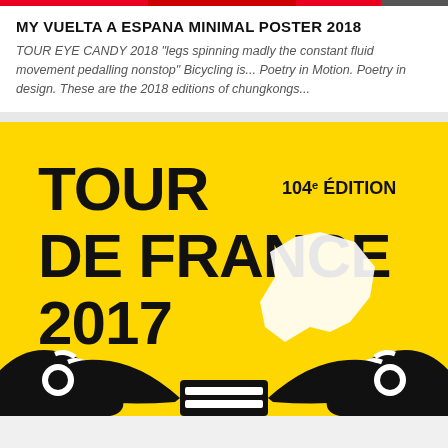[Figure (illustration): Top colored bar with red and dark sections, resembling a banner]
MY VUELTA A ESPANA MINIMAL POSTER 2018
TOUR EYE CANDY 2018 "legs spinning madly the constant fluid movement pedalling nonstop" Bicycling is... Poetry in Motion. Poetry in design. These are the 2018 editions of chungkongs...
[Figure (illustration): Tour de France 2017 minimal poster on yellow background with bicycle handlebars, white map of France silhouette, and text: TOUR DE FRANCE 2017 104e EDITION]